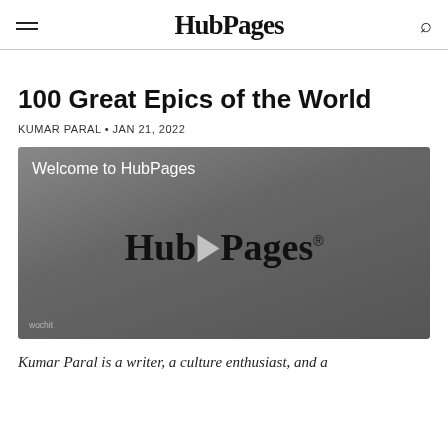HubPages
100 Great Epics of the World
KUMAR PARAL • JAN 21, 2022
[Figure (screenshot): Video player showing 'Welcome to HubPages' with HubPages logo and play button in center, wochit watermark at bottom left]
Kumar Paral is a writer, a culture enthusiast, and a